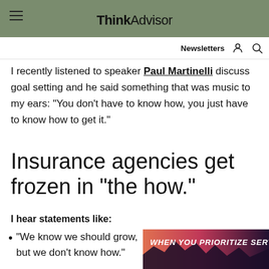ThinkAdvisor
I recently listened to speaker Paul Martinelli discuss goal setting and he said something that was music to my ears: “You don’t have to know how, you just have to know how to get it.”
Insurance agencies get frozen in “the how.”
I hear statements like:
“We know we should grow, but we don’t know how.”
[Figure (photo): Advertisement overlay with mountain silhouette and text WHEN YOU PRIORITIZE SERVICE on dark gradient background]